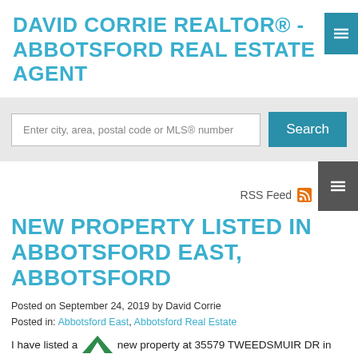DAVID CORRIE REALTOR® - ABBOTSFORD REAL ESTATE AGENT
Enter city, area, postal code or MLS® number
RSS Feed
NEW PROPERTY LISTED IN ABBOTSFORD EAST, ABBOTSFORD
Posted on September 24, 2019 by David Corrie
Posted in: Abbotsford East, Abbotsford Real Estate
I have listed a new property at 35579 TWEEDSMUIR DR in